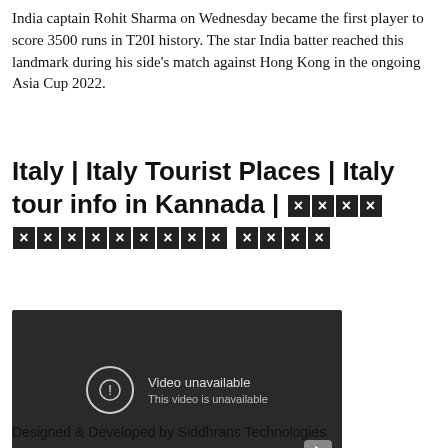India captain Rohit Sharma on Wednesday became the first player to score 3500 runs in T20I history. The star India batter reached this landmark during his side's match against Hong Kong in the ongoing Asia Cup 2022.
Italy | Italy Tourist Places | Italy tour info in Kannada | 🗙🗙🗙🗙 🗙🗙🗙🗙🗙🗙🗙🗙🗙 🗙🗙🗙🗙
[Figure (screenshot): Embedded video player showing 'Video unavailable — This video is unavailable' message on a dark background with a play button in the bottom right corner.]
Designed & Developed by Siddhrans Technologies